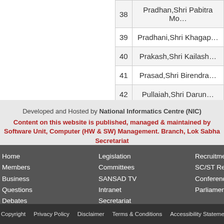| No. | Name |
| --- | --- |
| 38 | Pradhan,Shri Pabitra Mo… |
| 39 | Pradhani,Shri Khagap… |
| 40 | Prakash,Shri Kailash… |
| 41 | Prasad,Shri Birendra… |
| 42 | Pullaiah,Shri Darun… |
Developed and Hosted by National Informatics Centre (NIC)
Content on this website is published, managed & maintained by Software Unit, Computer (HW & SW) Management. Branch, Lok Sabha Secretariat
Home
Members
Business
Questions
Debates
Papers Laid
Legislation
Committees
SANSAD TV
Intranet
Secretariat
PRIDE
Recruitment
SC/ST Reservation
Conference
Parliament Library
Copyright   Privacy Policy   Disclaimer   Terms & Conditions   Accessibility Statement